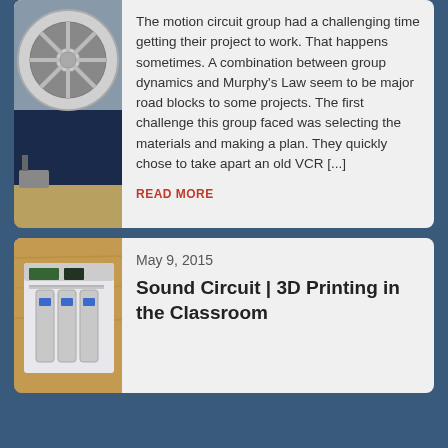[Figure (photo): Photo of a wheel/tire and circuit board components on a blue background]
The motion circuit group had a challenging time getting their project to work. That happens sometimes. A combination between group dynamics and Murphy's Law seem to be major road blocks to some projects. The first challenge this group faced was selecting the materials and making a plan. They quickly chose to take apart an old VCR [...]
READ MORE
[Figure (photo): Photo of electronic circuit board with components on wooden surface]
May 9, 2015
Sound Circuit | 3D Printing in the Classroom